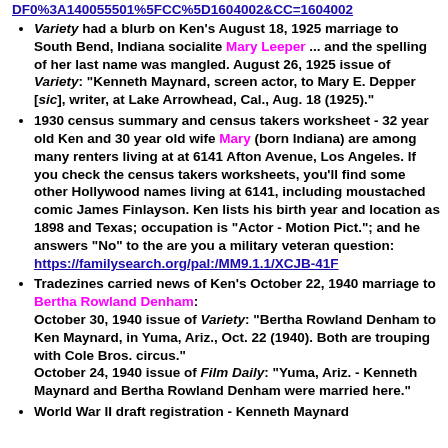DF0%3A140055501%5FCC%5D1604002&CC=1604002 (link at top)
Variety had a blurb on Ken's August 18, 1925 marriage to South Bend, Indiana socialite Mary Leeper ... and the spelling of her last name was mangled. August 26, 1925 issue of Variety: "Kenneth Maynard, screen actor, to Mary E. Depper [sic], writer, at Lake Arrowhead, Cal., Aug. 18 (1925)."
1930 census summary and census takers worksheet - 32 year old Ken and 30 year old wife Mary (born Indiana) are among many renters living at at 6141 Afton Avenue, Los Angeles. If you check the census takers worksheets, you'll find some other Hollywood names living at 6141, including moustached comic James Finlayson. Ken lists his birth year and location as 1898 and Texas; occupation is "Actor - Motion Pict."; and he answers "No" to the are you a military veteran question: https://familysearch.org/pal:/MM9.1.1/XCJB-41F
Tradezines carried news of Ken's October 22, 1940 marriage to Bertha Rowland Denham: October 30, 1940 issue of Variety: "Bertha Rowland Denham to Ken Maynard, in Yuma, Ariz., Oct. 22 (1940). Both are trouping with Cole Bros. circus." October 24, 1940 issue of Film Daily: "Yuma, Ariz. - Kenneth Maynard and Bertha Rowland Denham were married here."
World War II draft registration - Kenneth Maynard...